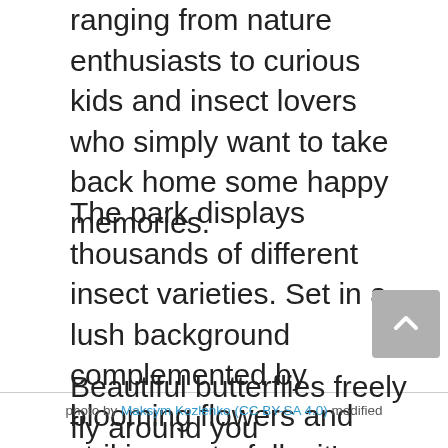ranging from nature enthusiasts to curious kids and insect lovers who simply want to take back home some happy memories.
The park displays thousands of different insect varieties. Set in a lush background complemented by blooming flowers and striking waterfalls, it's a safe refuge to more than 3,000 of the rarest and most endangered species of insects. The wondrous insectarium is modelled like an outdoor conservatory, home to around 1,500 live butterflies of more than 50 species that include both common and rare assortments.
photo by Maksym Kozlenko (CC BY-SA 4.0) modified
Beautiful butterflies freely fly around you